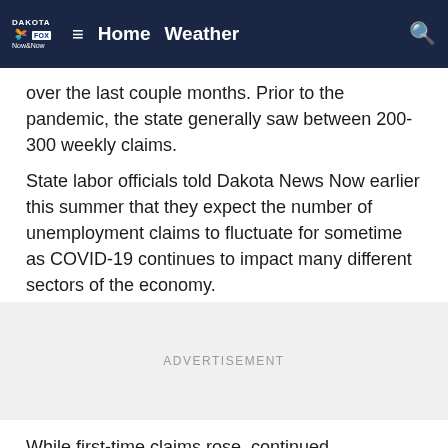Dakota Fox Now & Now | Home  Weather
over the last couple months. Prior to the pandemic, the state generally saw between 200-300 weekly claims.
State labor officials told Dakota News Now earlier this summer that they expect the number of unemployment claims to fluctuate for sometime as COVID-19 continues to impact many different sectors of the economy.
ADVERTISEMENT
While first-time claims rose, continued unemployment claims continued a downward trend in South Dakota. Officials say the state had 3,704 continued claims for the week ending in Oct. 24, a decrease of 835 from the